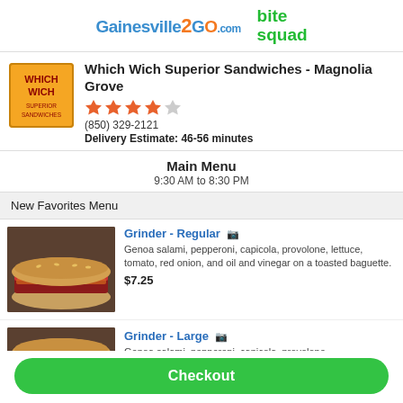[Figure (logo): Gainesville2Go.com and bite squad logos in page header]
Which Wich Superior Sandwiches - Magnolia Grove
(850) 329-2121
Delivery Estimate: 46-56 minutes
Main Menu
9:30 AM to 8:30 PM
New Favorites Menu
Grinder - Regular
Genoa salami, pepperoni, capicola, provolone, lettuce, tomato, red onion, and oil and vinegar on a toasted baguette.
$7.25
Grinder - Large
Genoa salami, pepperoni, capicola, provolone,